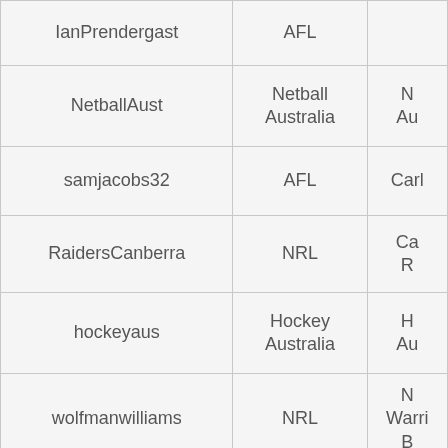| Username | Sport/League | Team/Affiliation |
| --- | --- | --- |
| IanPrendergast | AFL |  |
| NetballAust | Netball Australia | N Au |
| samjacobs32 | AFL | Carlt |
| RaidersCanberra | NRL | Ca R |
| hockeyaus | Hockey Australia | H Au |
| wolfmanwilliams | NRL | N Warri B |
| LawrieMcKinna | A-League | Cent M Foot |
| cmail_sport | General Australian sport | G Austr |